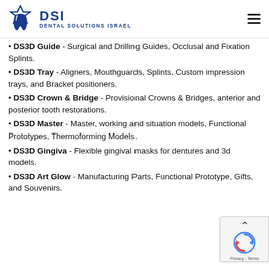DSI DENTAL SOLUTIONS ISRAEL
DS3D Guide - Surgical and Drilling Guides, Occlusal and Fixation Splints.
DS3D Tray - Aligners, Mouthguards, Splints, Custom impression trays, and Bracket positioners.
DS3D Crown & Bridge - Provisional Crowns & Bridges, anterior and posterior tooth restorations.
DS3D Master - Master, working and situation models, Functional Prototypes, Thermoforming Models.
DS3D Gingiva - Flexible gingival masks for dentures and 3d models.
DS3D Art Glow - Manufacturing Parts, Functional Prototype, Gifts, and Souvenirs.
[Figure (logo): reCAPTCHA badge with up arrow, reCaptcha logo, Privacy and Terms links]